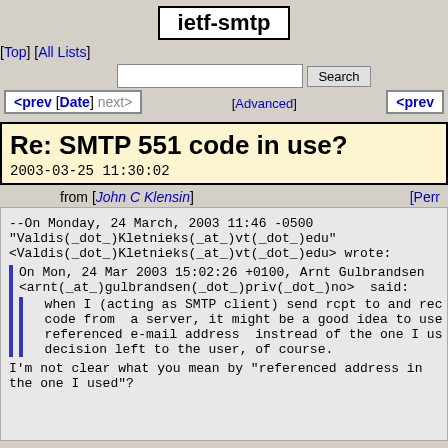ietf-smtp
[Top] [All Lists]
Search  [Advanced]
<prev [Date] next>   <prev
Re: SMTP 551 code in use?
2003-03-25 11:30:02
from [John C Klensin]  [Perr
--On Monday, 24 March, 2003 11:46 -0500
"Valdis(_dot_)Kletnieks(_at_)vt(_dot_)edu"
<Valdis(_dot_)Kletnieks(_at_)vt(_dot_)edu> wrote:

On Mon, 24 Mar 2003 15:02:26 +0100, Arnt Gulbrandsen
<arnt(_at_)gulbrandsen(_dot_)priv(_dot_)no>  said:
  when I (acting as SMTP client) send rcpt to and rec
  code from  a server, it might be a good idea to use
  referenced e-mail address  instread of the one I us
  decision left to the user, of course.

I'm not clear what you mean by "referenced address in
the one I used"?